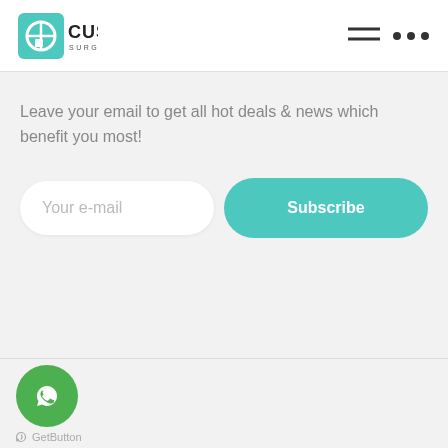[Figure (logo): Cushy Surgicalco logo with teal square icon and bold text]
[Figure (other): Hamburger menu icon and three dots menu icon in top right header]
Leave your email to get all hot deals & news which benefit you most!
[Figure (other): Email input field with placeholder 'Your e-mail' and teal Subscribe button]
[Figure (other): Green WhatsApp icon button (GetButton widget) with 'GetButton' label below]